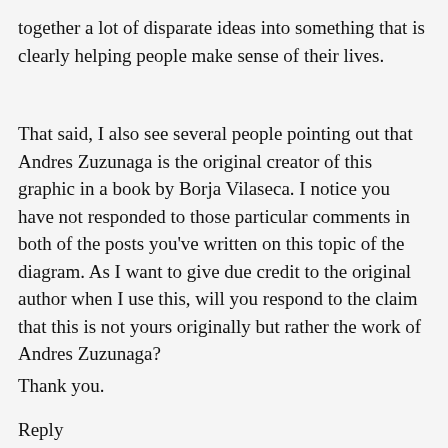together a lot of disparate ideas into something that is clearly helping people make sense of their lives.
That said, I also see several people pointing out that Andres Zuzunaga is the original creator of this graphic in a book by Borja Vilaseca. I notice you have not responded to those particular comments in both of the posts you've written on this topic of the diagram. As I want to give due credit to the original author when I use this, will you respond to the claim that this is not yours originally but rather the work of Andres Zuzunaga?
Thank you.
Reply